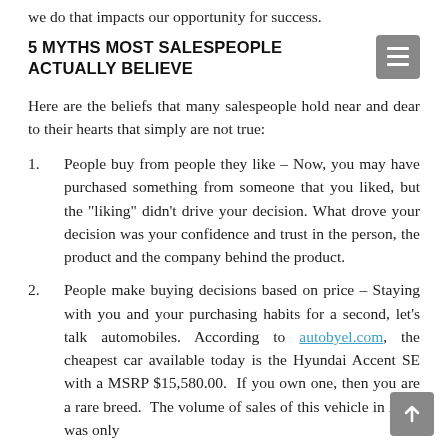we do that impacts our opportunity for success.
5 MYTHS MOST SALESPEOPLE ACTUALLY BELIEVE
Here are the beliefs that many salespeople hold near and dear to their hearts that simply are not true:
People buy from people they like – Now, you may have purchased something from someone that you liked, but the "liking" didn't drive your decision. What drove your decision was your confidence and trust in the person, the product and the company behind the product.
People make buying decisions based on price – Staying with you and your purchasing habits for a second, let's talk automobiles. According to autobyel.com, the cheapest car available today is the Hyundai Accent SE with a MSRP $15,580.00. If you own one, then you are a rare breed. The volume of sales of this vehicle in 2016 was only